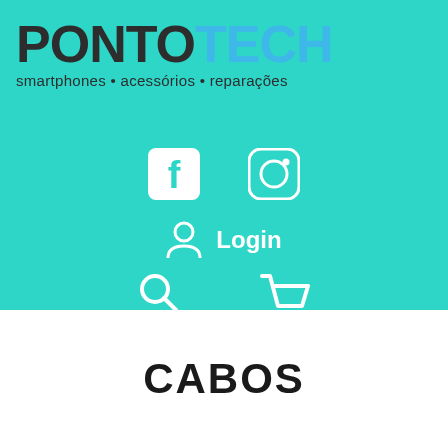[Figure (logo): PontoTech logo with tagline: smartphones • acessórios • reparações]
[Figure (infographic): Social media icons: Facebook and Instagram, white on teal background]
[Figure (infographic): Login icon (person silhouette) with Login text, white on teal]
[Figure (infographic): Search icon and shopping cart icon, white on teal]
CABOS